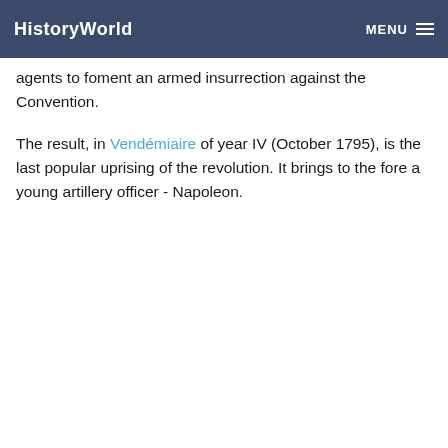HistoryWorld  MENU
agents to foment an armed insurrection against the Convention.
The result, in Vendémiaire of year IV (October 1795), is the last popular uprising of the revolution. It brings to the fore a young artillery officer - Napoleon.